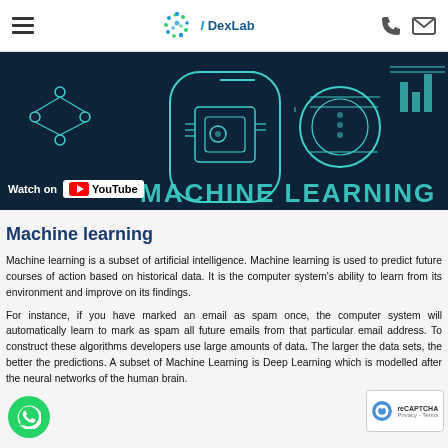DexLab (navigation bar with hamburger menu, logo, phone and email icons)
[Figure (screenshot): Dark navy banner showing machine learning technology illustration with teal circuit/robot graphics and 'MACHINE LEARNING' text. Includes 'Watch on YouTube' button overlay.]
Machine learning
Machine learning is a subset of artificial intelligence. Machine learning is used to predict future courses of action based on historical data. It is the computer system's ability to learn from its environment and improve on its findings.
For instance, if you have marked an email as spam once, the computer system will automatically learn to mark as spam all future emails from that particular email address. To construct these algorithms developers use large amounts of data. The larger the data sets, the better the predictions. A subset of Machine Learning is Deep Learning which is modelled after the neural networks of the human brain.